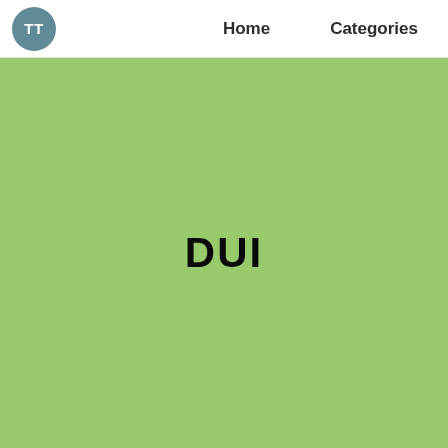TT  Home  Categories
[Figure (illustration): Green banner with bold text 'DUI' centered on a light green background]
DUI